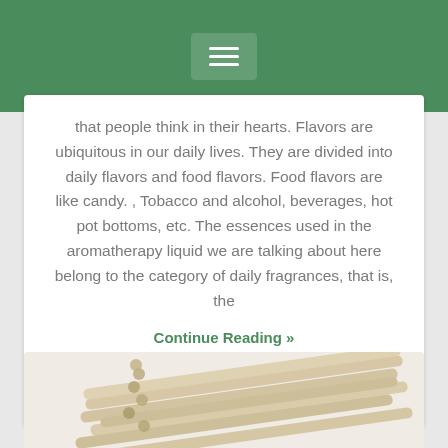that people think in their hearts. Flavors are ubiquitous in our daily lives. They are divided into daily flavors and food flavors. Food flavors are like candy. , Tobacco and alcohol, beverages, hot pot bottoms, etc. The essences used in the aromatherapy liquid we are talking about here belong to the category of daily fragrances, that is, the
Continue Reading »
Topman · No Comments
[Figure (photo): Bundle of rattan/reed diffuser sticks arranged diagonally, pale wood color, on light background]